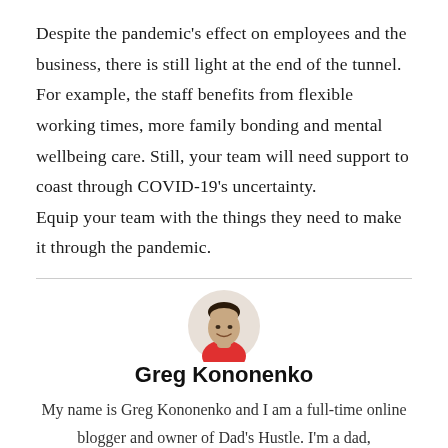Despite the pandemic's effect on employees and the business, there is still light at the end of the tunnel. For example, the staff benefits from flexible working times, more family bonding and mental wellbeing care. Still, your team will need support to coast through COVID-19's uncertainty. Equip your team with the things they need to make it through the pandemic.
[Figure (photo): Circular portrait photo of Greg Kononenko, a man wearing a red shirt, smiling]
Greg Kononenko
My name is Greg Kononenko and I am a full-time online blogger and owner of Dad's Hustle. I'm a dad,